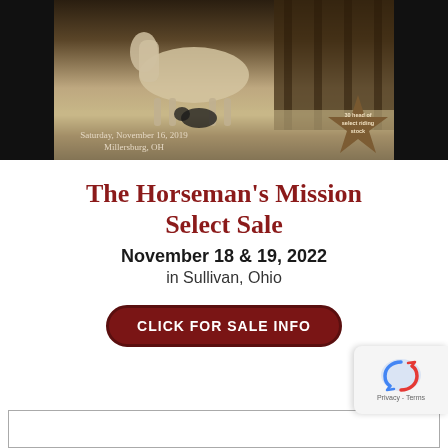[Figure (photo): Sepia-toned photograph of a horse and dog near a barn, with text overlay showing 'Saturday, November 16, 2019 / Millersburg, OH' and a star badge]
The Horseman's Mission Select Sale
November 18 & 19, 2022
in Sullivan, Ohio
CLICK FOR SALE INFO